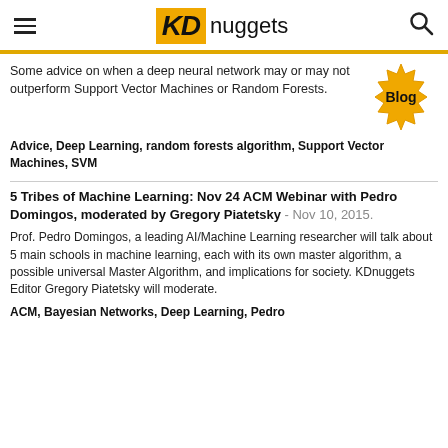KDnuggets
Some advice on when a deep neural network may or may not outperform Support Vector Machines or Random Forests.
[Figure (logo): KDnuggets Blog badge — yellow starburst shape with 'Blog' text]
Advice, Deep Learning, random forests algorithm, Support Vector Machines, SVM
5 Tribes of Machine Learning: Nov 24 ACM Webinar with Pedro Domingos, moderated by Gregory Piatetsky - Nov 10, 2015.
Prof. Pedro Domingos, a leading AI/Machine Learning researcher will talk about 5 main schools in machine learning, each with its own master algorithm, a possible universal Master Algorithm, and implications for society. KDnuggets Editor Gregory Piatetsky will moderate.
ACM, Bayesian Networks, Deep Learning, Pedro